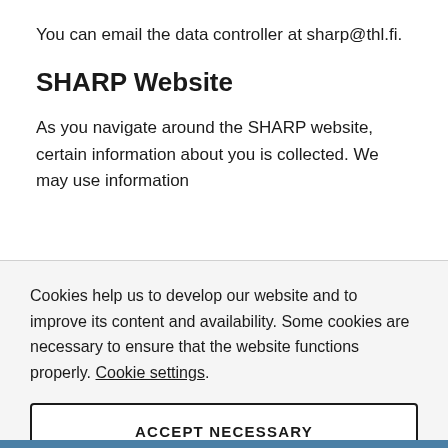You can email the data controller at sharp@thl.fi.
SHARP Website
As you navigate around the SHARP website, certain information about you is collected. We may use information
Cookies help us to develop our website and to improve its content and availability. Some cookies are necessary to ensure that the website functions properly. Cookie settings.
ACCEPT NECESSARY
ACCEPT ALL